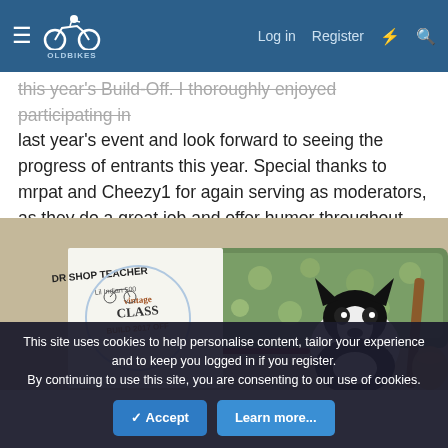OldBikes forum navigation bar with hamburger menu, logo, Log in, Register, lightning bolt and search icons
this year's Build-Off. I thoroughly enjoyed participating in last year's event and look forward to seeing the progress of entrants this year. Special thanks to mrpat and Cheezy1 for again serving as moderators, as they do a great job and offer humor throughout.
[Figure (photo): Photo of a 'DR SHOP TEACHER Lil Indian 500 Vintage CLASS BUILD 2017 OFF' placard/logo on paper propped up, with a black and white Boston Terrier dog lying behind a red frame in the foreground, and a green floral sofa in the background.]
This site uses cookies to help personalise content, tailor your experience and to keep you logged in if you register.
By continuing to use this site, you are consenting to our use of cookies.
Accept   Learn more...